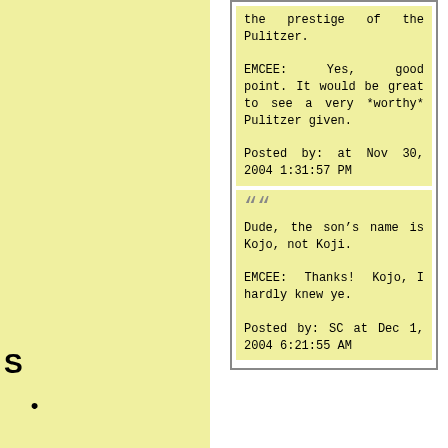the prestige of the Pulitzer.

EMCEE: Yes, good point. It would be great to see a very *worthy* Pulitzer given.

Posted by: at Nov 30, 2004 1:31:57 PM
“” Dude, the son’s name is Kojo, not Koji.

EMCEE: Thanks! Kojo, I hardly knew ye.

Posted by: SC at Dec 1, 2004 6:21:55 AM
S
•